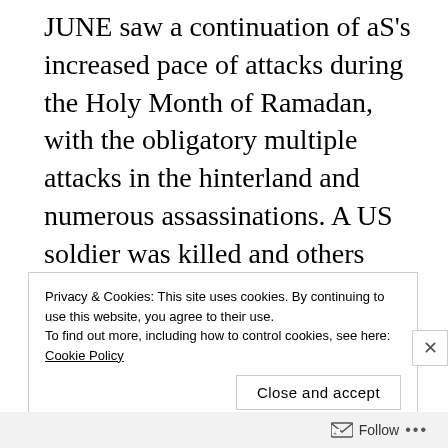JUNE saw a continuation of aS's increased pace of attacks during the Holy Month of Ramadan, with the obligatory multiple attacks in the hinterland and numerous assassinations. A US soldier was killed and others injured in fighting in the Jubba River Valley, which sadly eclipsed the results of the US investigation into a recent accusation of civ cas.
Privacy & Cookies: This site uses cookies. By continuing to use this website, you agree to their use. To find out more, including how to control cookies, see here: Cookie Policy
Close and accept
Follow